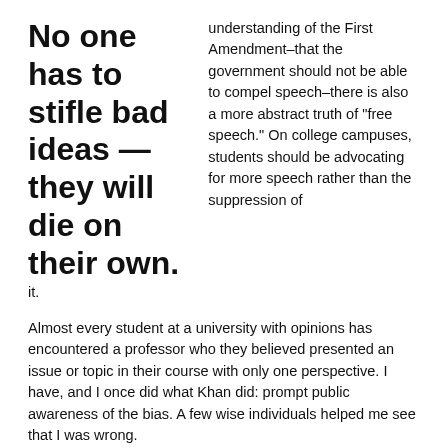No one has to stifle bad ideas—they will die on their own.
understanding of the First Amendment–that the government should not be able to compel speech–there is also a more abstract truth of "free speech." On college campuses, students should be advocating for more speech rather than the suppression of it.
Almost every student at a university with opinions has encountered a professor who they believed presented an issue or topic in their course with only one perspective. I have, and I once did what Khan did: prompt public awareness of the bias. A few wise individuals helped me see that I was wrong.
Instead of first voicing his outrage on social media, Khan should have spoken to Professor Kydd about his concerns, which he reportedly did in the end. Should Professor Kydd have ignored those comments, Khan could have taken action but in a different direction. While I agree that there are many situations in which hold